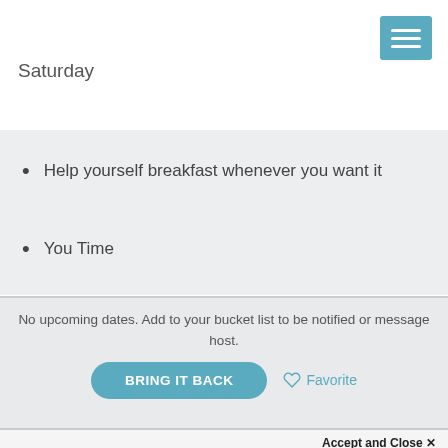[Figure (other): Teal/blue hamburger menu icon button in top-right corner]
Saturday
Help yourself breakfast whenever you want it
You Time
No upcoming dates. Add to your bucket list to be notified or message host.
BRING IT BACK  ♡ Favorite
Accept and Close ✕
Your browser settings do not allow cross-site tracking for advertising. Click on this page to allow AdRoll to use cross-site tracking to tailor ads to you. Learn more or opt out of this AdRoll tracking by clicking here. This message only appears once.